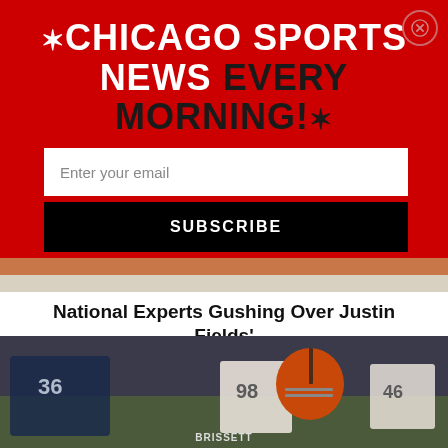★CHICAGO SPORTS NEWS EVERY MORNING!★
Enter your email
SUBSCRIBE
National Experts Gushing Over Justin Fields' Browns Performance
Justin Fields was having a decent preseason going into Cleveland on Saturday night. It wasn't anything special. He'd made…
[Figure (photo): Football players on field, jersey numbers 36, 98, 46 visible, player labeled BRISSETT in Cleveland Browns helmet]